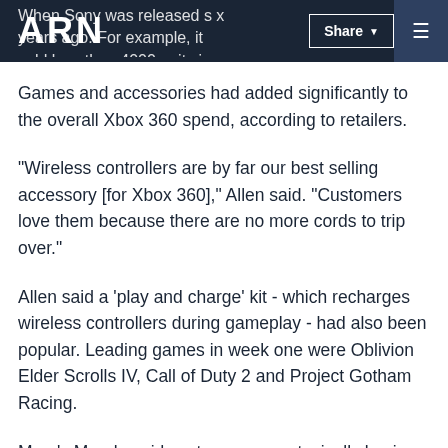ARN | Share | Menu
When Sony[...] was released six years ago. For example, it sold less than 4000 units in its opening week...
Games and accessories had added significantly to the overall Xbox 360 spend, according to retailers.
"Wireless controllers are by far our best selling accessory [for Xbox 360]," Allen said. "Customers love them because there are no more cords to trip over."
Allen said a 'play and charge' kit - which recharges wireless controllers during gameplay - had also been popular. Leading games in week one were Oblivion Elder Scrolls IV, Call of Duty 2 and Project Gotham Racing.
Myer's Merola said customers were typically buying two games per console. GfK estimates put that figure at 2.6